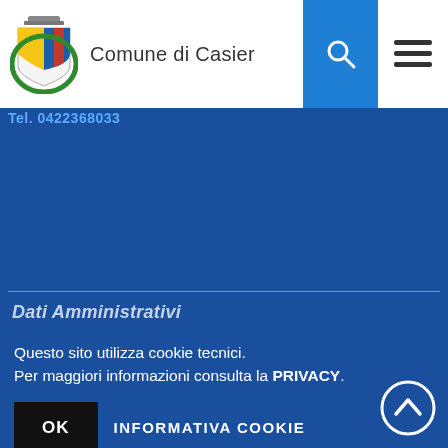Comune di Casier
Tel. 0422368033
Dati Amministrativi
Questo sito utilizza cookie tecnici.
Per maggiori informazioni consulta la PRIVACY.
OK
INFORMATIVA COOKIE